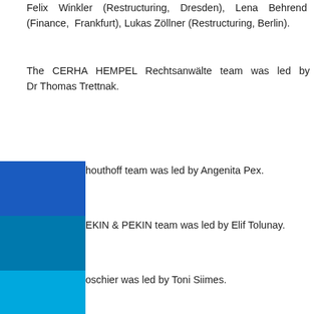Felix Winkler (Restructuring, Dresden), Lena Behrend (Finance, Frankfurt), Lukas Zöllner (Restructuring, Berlin).
The CERHA HEMPEL Rechtsanwälte team was led by Dr Thomas Trettnak.
...houthoff team was led by Angenita Pex.
...EKIN & PEKIN team was led by Elif Tolunay.
...oschier was led by Toni Siimes.
...rouse McDowell was headed by Patricia A. Gajda.
...ved fees earner: Franz Abel – Abel und Kollegen; Matthias ... – Abel und Kollegen; Lukas Eisenhuth – Abel und Kollegen; ...cia Gajda – Brouse McDowell; Thomas Trettnak – Cerha ...bel; Angenita Pex – Houthoff; Theresa Bachmann – Noerr; Lena Behrend – Noerr; Uwe Brendler – Noerr; Tabea Gutmann – Noerr; Hans Kenschke – Noerr; Ethel Nanaeva – Noerr; Christian Pleister – Noerr; Fabian Radke – Noerr; Marlies Raschke – Noerr; Alexander Schilling – Noerr; Stephan Schulz – Noerr; Stefan